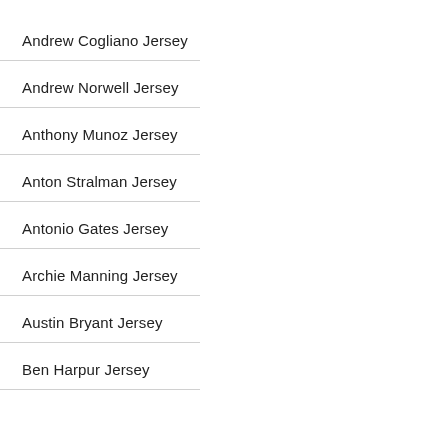Andrew Cogliano Jersey
Andrew Norwell Jersey
Anthony Munoz Jersey
Anton Stralman Jersey
Antonio Gates Jersey
Archie Manning Jersey
Austin Bryant Jersey
Ben Harpur Jersey